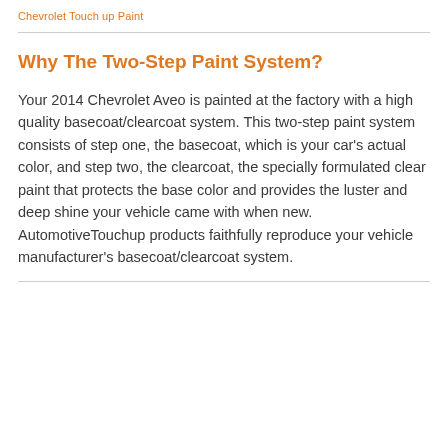Chevrolet Touch up Paint
Why The Two-Step Paint System?
Your 2014 Chevrolet Aveo is painted at the factory with a high quality basecoat/clearcoat system. This two-step paint system consists of step one, the basecoat, which is your car’s actual color, and step two, the clearcoat, the specially formulated clear paint that protects the base color and provides the luster and deep shine your vehicle came with when new. AutomotiveTouchup products faithfully reproduce your vehicle manufacturer’s basecoat/clearcoat system.